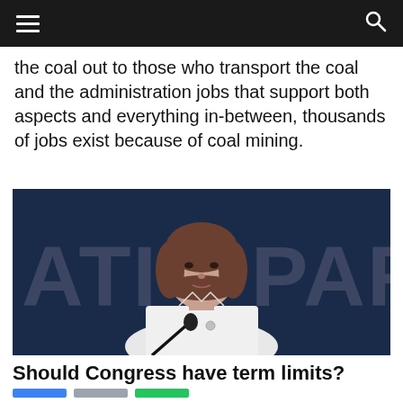the coal out to those who transport the coal and the administration jobs that support both aspects and everything in-between, thousands of jobs exist because of coal mining.
[Figure (photo): A woman in a white jacket standing at a podium with a microphone, in front of a dark blue background with partial letters 'ATIO PAR' visible]
Should Congress have term limits?